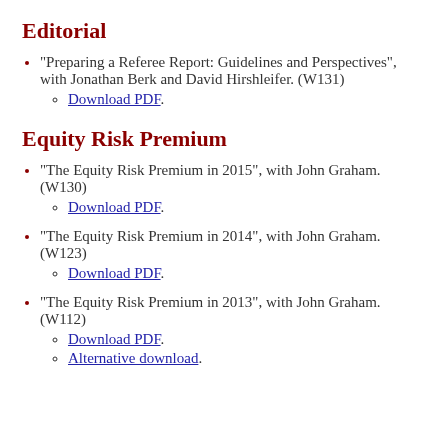Editorial
"Preparing a Referee Report: Guidelines and Perspectives", with Jonathan Berk and David Hirshleifer. (W131)
Download PDF.
Equity Risk Premium
"The Equity Risk Premium in 2015", with John Graham. (W130)
Download PDF.
"The Equity Risk Premium in 2014", with John Graham. (W123)
Download PDF.
"The Equity Risk Premium in 2013", with John Graham. (W112)
Download PDF.
Alternative download.